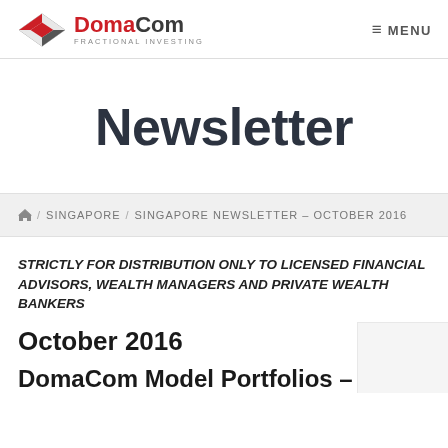DomaCom FRACTIONAL INVESTING — MENU
Newsletter
🏠 / SINGAPORE / SINGAPORE NEWSLETTER – OCTOBER 2016
STRICTLY FOR DISTRIBUTION ONLY TO LICENSED FINANCIAL ADVISORS, WEALTH MANAGERS AND PRIVATE WEALTH BANKERS
October 2016
DomaCom Model Portfolios –